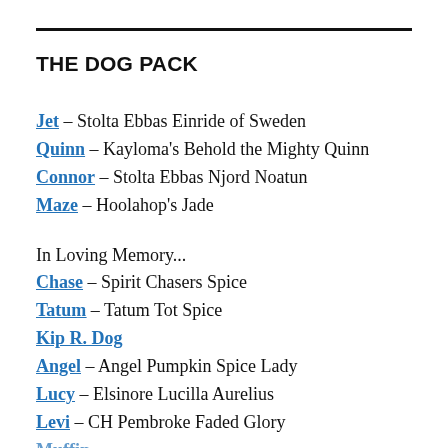THE DOG PACK
Jet - Stolta Ebbas Einride of Sweden
Quinn - Kayloma's Behold the Mighty Quinn
Connor - Stolta Ebbas Njord Noatun
Maze - Hoolahop's Jade
In Loving Memory...
Chase - Spirit Chasers Spice
Tatum - Tatum Tot Spice
Kip R. Dog
Angel - Angel Pumpkin Spice Lady
Lucy - Elsinore Lucilla Aurelius
Levi - CH Pembroke Faded Glory
Muffin - ...